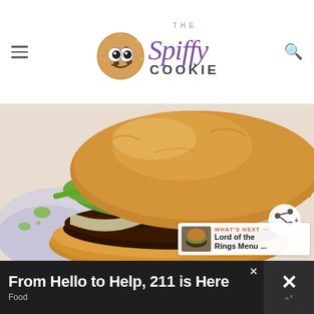THE Spiffy COOKIE
[Figure (photo): Close-up photo of a gourmet burger with melted cheese, guacamole, and greens on a toasted bun, served on a decorative plate with herb oil drizzled around it.]
WHAT'S NEXT → Lord of the Rings Menu ...
From Hello to Help, 211 is Here
Food